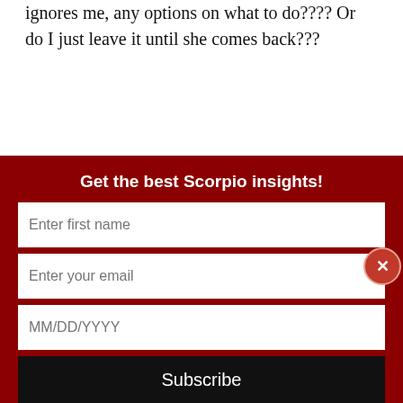ignores me, any options on what to do???? Or do I just leave it until she comes back???
Reply
Tracy on June 4, 2017 at 6:13 am
Depending on the reason why she left, unlikely she will come back, especially if she was hurt. She won't
Get the best Scorpio insights!
Enter first name
Enter your email
MM/DD/YYYY
Subscribe